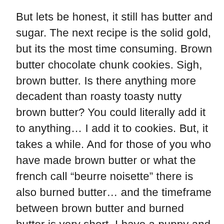But lets be honest, it still has butter and sugar. The next recipe is the solid gold, but its the most time consuming. Brown butter chocolate chunk cookies. Sigh, brown butter. Is there anything more decadent than roasty toasty nutty brown butter? You could literally add it to anything… I add it to cookies. But, it takes a while. And for those of you who have made brown butter or what the french call “beurre noisette” there is also burned butter… and the timeframe between brown butter and burned butter is very short. I have a puppy and a new stove that seems like it cooks everything SUPER hot. There will be no brown butter for a while, alas, I have no time for that. The last one is the one I am about to share with you…. right now…. that I have adapted over the years from several different recipes starting out as the tollhouse cookie recipe (you know, on the chocolate chip bag) and